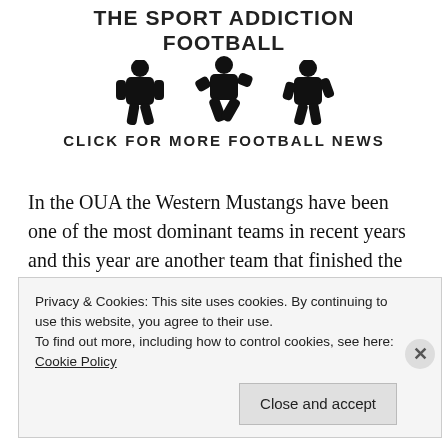[Figure (illustration): The Sport Addiction Football banner with three football player silhouettes and text 'THE SPORT ADDICTION FOOTBALL' and 'CLICK FOR MORE FOOTBALL NEWS']
In the OUA the Western Mustangs have been one of the most dominant teams in recent years and this year are another team that finished the season without a loss.
They should be able to beat the Guelph Gryphons but that
Privacy & Cookies: This site uses cookies. By continuing to use this website, you agree to their use.
To find out more, including how to control cookies, see here: Cookie Policy